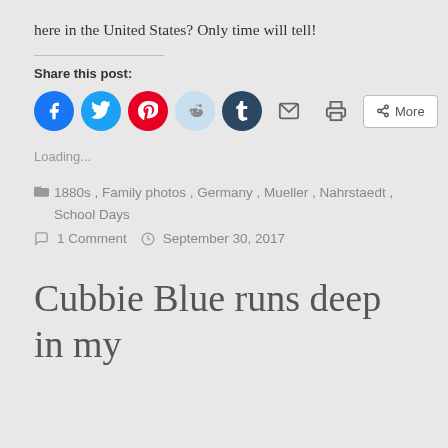here in the United States? Only time will tell!
Share this post:
[Figure (other): Social share buttons: Facebook, Twitter, Pinterest, Reddit, Tumblr, Email, Print, More]
Loading...
1880s, Family photos, Germany, Mueller, Nahrstaedt, School Days
1 Comment   September 30, 2017
Cubbie Blue runs deep in my